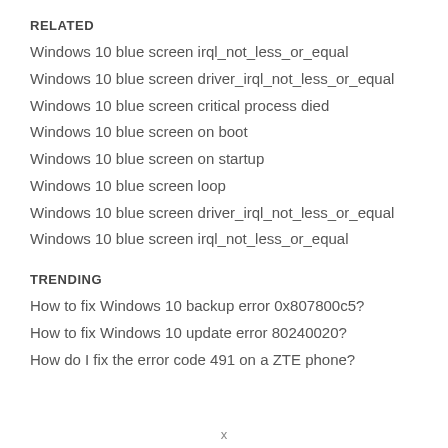RELATED
Windows 10 blue screen irql_not_less_or_equal
Windows 10 blue screen driver_irql_not_less_or_equal
Windows 10 blue screen critical process died
Windows 10 blue screen on boot
Windows 10 blue screen on startup
Windows 10 blue screen loop
Windows 10 blue screen driver_irql_not_less_or_equal
Windows 10 blue screen irql_not_less_or_equal
TRENDING
How to fix Windows 10 backup error 0x807800c5?
How to fix Windows 10 update error 80240020?
How do I fix the error code 491 on a ZTE phone?
x